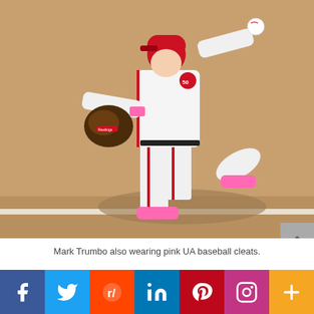[Figure (photo): Baseball player Mark Trumbo in white Angels uniform with pink cleats and pink wristband, fielding a ball on a dirt infield, wearing a glove on left hand and holding the ball up in right hand, mid-motion running.]
Mark Trumbo also wearing pink UA baseball cleats.
[Figure (photo): Partial second photo strip showing a blurred crowd/baseball scene at the bottom of the page.]